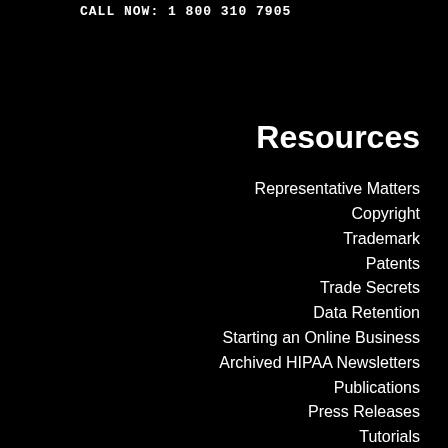CALL NOW: 1 800 310 7905
Resources
Representative Matters
Copyright
Trademark
Patents
Trade Secrets
Data Retention
Starting an Online Business
Archived HIPAA Newsletters
Publications
Press Releases
Tutorials
Blog
HIPAA Survival Guide
Agile Compliance
Other